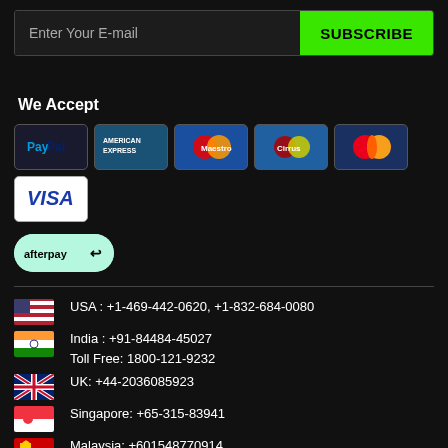Enter Your E-mail
SUBSCRIBE
We Accept
[Figure (logo): Payment method logos: PayPal, American Express, Maestro, Cirrus, MasterCard, Visa, Afterpay]
USA : +1-469-442-0620, +1-832-684-0080
India : +91-84484-45027
Toll Free: 1800-121-9232
UK: +44-2036085923
Singapore: +65-315-83941
Malaysia: +601548770914
DROP A QUERY
CORPORATE